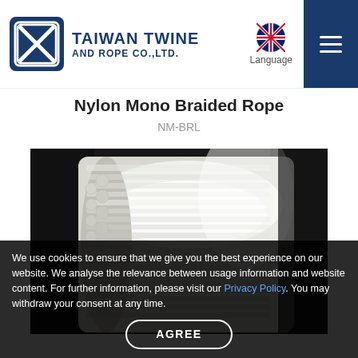TAIWAN TWINE AND ROPE CO.,LTD. | Language | Menu
Nylon Mono Braided Rope
NM-BRL
[Figure (photo): Close-up photograph of white/translucent nylon mono braided rope bundle against a dark background, showing the braided texture and cross-section of multiple strands.]
We use cookies to ensure that we give you the best experience on our website. We analyse the relevance between usage information and website content. For further information, please visit our Privacy Policy. You may withdraw your consent at any time.